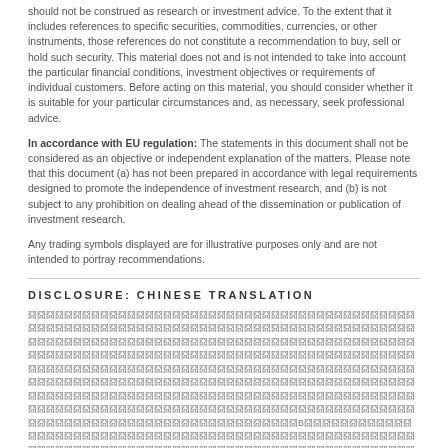should not be construed as research or investment advice. To the extent that it includes references to specific securities, commodities, currencies, or other instruments, those references do not constitute a recommendation to buy, sell or hold such security. This material does not and is not intended to take into account the particular financial conditions, investment objectives or requirements of individual customers. Before acting on this material, you should consider whether it is suitable for your particular circumstances and, as necessary, seek professional advice.
In accordance with EU regulation: The statements in this document shall not be considered as an objective or independent explanation of the matters. Please note that this document (a) has not been prepared in accordance with legal requirements designed to promote the independence of investment research, and (b) is not subject to any prohibition on dealing ahead of the dissemination or publication of investment research.
Any trading symbols displayed are for illustrative purposes only and are not intended to portray recommendations.
DISCLOSURE: CHINESE TRANSLATION
[Chinese text paragraph 1]
[Chinese text paragraph 2]